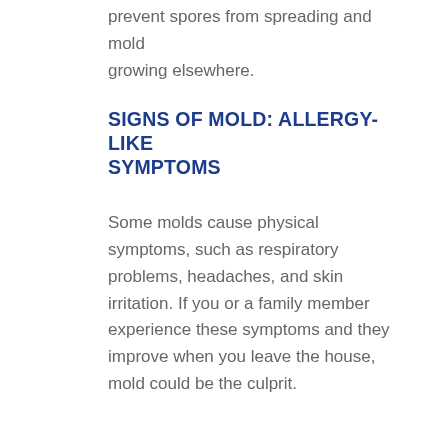prevent spores from spreading and mold growing elsewhere.
SIGNS OF MOLD: ALLERGY-LIKE SYMPTOMS
Some molds cause physical symptoms, such as respiratory problems, headaches, and skin irritation. If you or a family member experience these symptoms and they improve when you leave the house, mold could be the culprit.
While not everyone will react negatively to mold exposure, it is important to know that allergies are one of the signs of mold in your home.
WATER LEAKS CAN CAUSE MOLD GROWTH